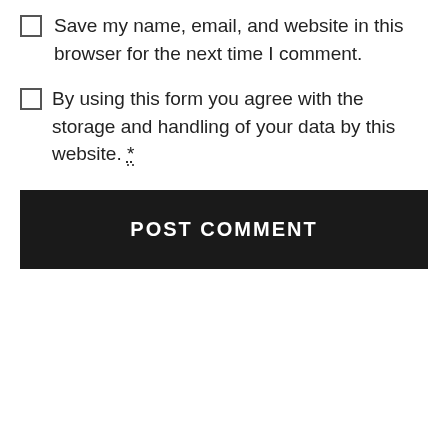Save my name, email, and website in this browser for the next time I comment.
By using this form you agree with the storage and handling of your data by this website. *
POST COMMENT